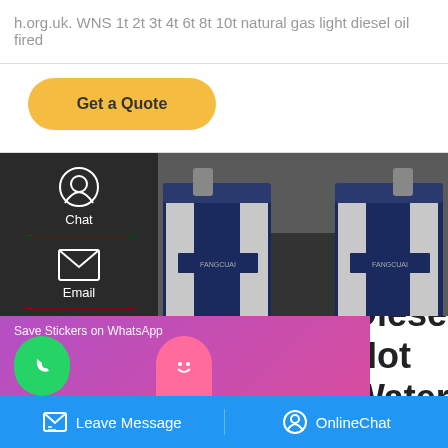h.org.uk. WNS 1t 2t 3t 4t 6t 8t 10t natural gas light diesel oil fired
Get a Quote
[Figure (photo): Two large industrial WNS natural gas light diesel oil fired hot water boilers in a boiler room, navy blue and white colored units, yellow gas pipes visible between them]
Chat
Email
Contact
Save Stickers on WhatsApp
Diesel Hot Water
Leave Message
OnlineChat